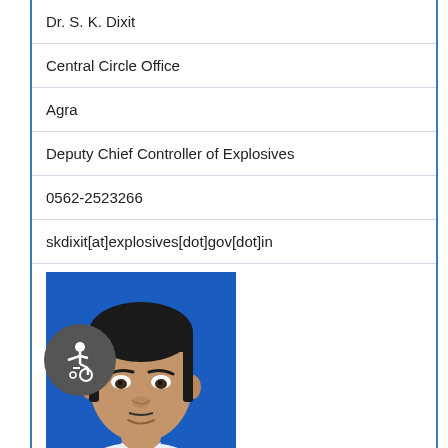| Dr. S. K. Dixit |
| Central Circle Office |
| Agra |
| Deputy Chief Controller of Explosives |
| 0562-2523266 |
| skdixit[at]explosives[dot]gov[dot]in |
[Figure (photo): Portrait photo of Dr. S. K. Dixit, a middle-aged man in white shirt and blue tie against a blue background.]